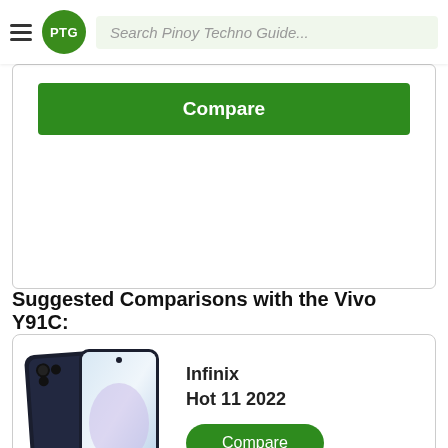PTG — Search Pinoy Techno Guide...
[Figure (screenshot): Compare button (green) inside a card box at the top of the page, partially visible]
Suggested Comparisons with the Vivo Y91C:
[Figure (photo): Infinix Hot 11 2022 smartphone product image showing front and back views in dark blue color]
Infinix
Hot 11 2022
[Figure (screenshot): Compare button (green rounded) for Infinix Hot 11 2022]
[Figure (photo): Vivo smartphone product image partially visible at bottom of page]
vivo
Y02s